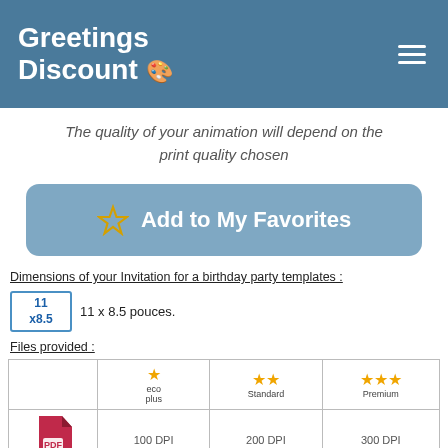Greetings Discount
The quality of your animation will depend on the print quality chosen
Add to My Favorites
Dimensions of your Invitation for a birthday party templates :
11 x8.5  11 x 8.5 pouces.
Files provided :
|  | ★ eco plus | ★★ Standard | ★★★ Premium |
| --- | --- | --- | --- |
| PDF icon | 100 DPI | 200 DPI | 300 DPI |